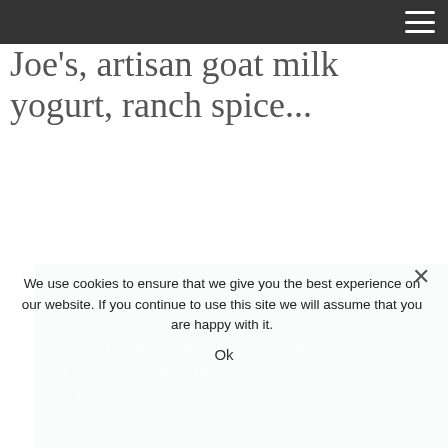goat milk cream cheese from Trader Joe's, artisan goat milk yogurt, ranch spice...
Joe's, artisan goat milk yogurt, ranch spice...
[Figure (photo): Close-up photo of a bison burger patty topped with caramelized onions on a bun, served on a dark blue plate with what appears to be tater tots on the side]
BISON / DAIRY-FREE / DINNER IDEAS
GLUTEN-FREE RECIPES
AUGUST 13, 2019
We use cookies to ensure that we give you the best experience on our website. If you continue to use this site we will assume that you are happy with it.
Ok